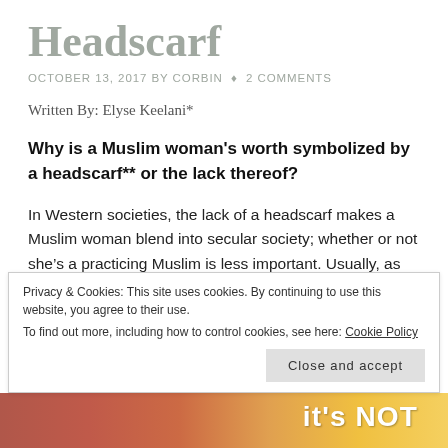Headscarf
OCTOBER 13, 2017 BY CORBIN ♦ 2 COMMENTS
Written By: Elyse Keelani*
Why is a Muslim woman's worth symbolized by a headscarf** or the lack thereof?
In Western societies, the lack of a headscarf makes a Muslim woman blend into secular society; whether or not she's a practicing Muslim is less important. Usually, as long as she looks the part, she is accepted. A lack of a
Privacy & Cookies: This site uses cookies. By continuing to use this website, you agree to their use.
To find out more, including how to control cookies, see here: Cookie Policy
Close and accept
[Figure (photo): Colorful photo strip at the bottom of the page showing a partial image, with bright red, orange, and yellow colors and partial text visible.]